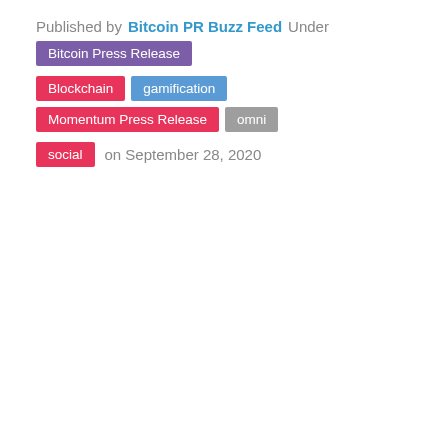Published by Bitcoin PR Buzz Feed Under Bitcoin Press Release Blockchain gamification Momentum Press Release omni social on September 28, 2020